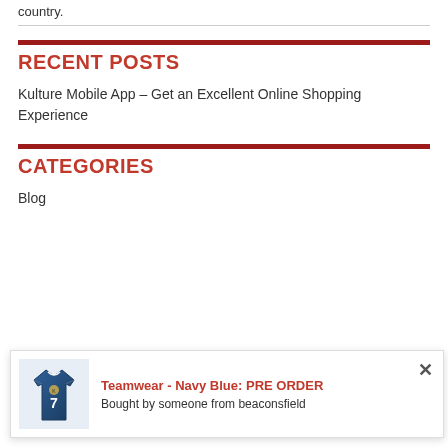country.
RECENT POSTS
Kulture Mobile App – Get an Excellent Online Shopping Experience
CATEGORIES
Blog
[Figure (infographic): Popup notification showing a navy blue teamwear jersey image with text: Teamwear - Navy Blue: PRE ORDER / Bought by someone from beaconsfield]